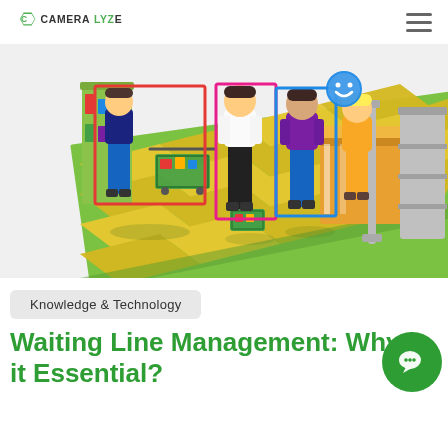CAMERALYZE
[Figure (illustration): Isometric illustration of a supermarket checkout scene with people standing in a queue. Detection bounding boxes are overlaid: a red box around two people with a shopping cart on the left, a pink/magenta box around a person in white shirt in the center, and a blue box around a person in a purple shirt. A smiley face emoji icon appears in a blue circle above the rightmost queued customer. A cashier in yellow is visible at the checkout counter on the right.]
Knowledge & Technology
Waiting Line Management: Why is it Essential?